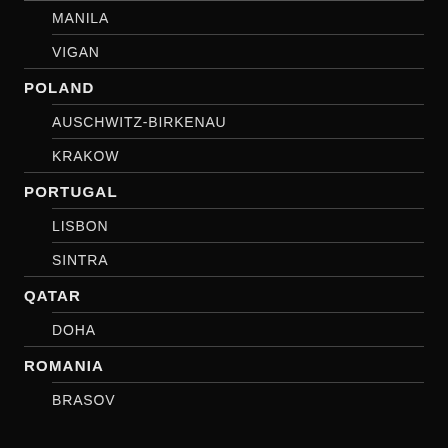MANILA
VIGAN
POLAND
AUSCHWITZ-BIRKENAU
KRAKOW
PORTUGAL
LISBON
SINTRA
QATAR
DOHA
ROMANIA
BRASOV